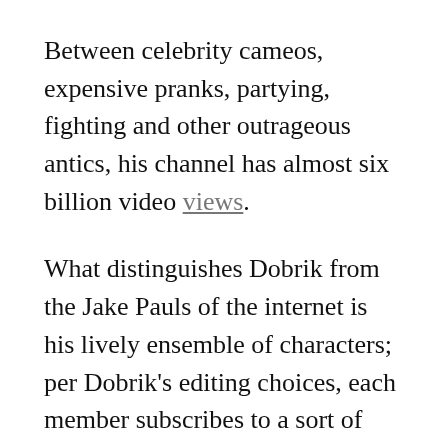Between celebrity cameos, expensive pranks, partying, fighting and other outrageous antics, his channel has almost six billion video views.
What distinguishes Dobrik from the Jake Pauls of the internet is his lively ensemble of characters; per Dobrik’s editing choices, each member subscribes to a sort of caricature of their person. The vlogs are more than just a diary of a day — they are instead a smartly crafted sequence of setups and punchlines (often targeting a member of the Vlog Squad), with increasingly dangerous stunts scattered throughout. Because of this, they’re addicting: